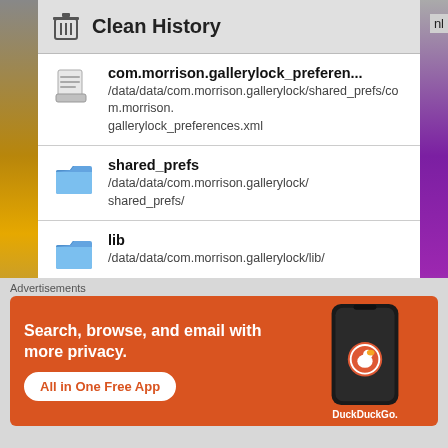Clean History
com.morrison.gallerylock_preferen...
/data/data/com.morrison.gallerylock/shared_prefs/com.morrison.gallerylock_preferences.xml
shared_prefs
/data/data/com.morrison.gallerylock/shared_prefs/
lib
/data/data/com.morrison.gallerylock/lib/
libnativeinterface.so
Advertisements
[Figure (screenshot): DuckDuckGo advertisement banner: orange background with text 'Search, browse, and email with more privacy. All in One Free App' and a phone mockup with DuckDuckGo logo]